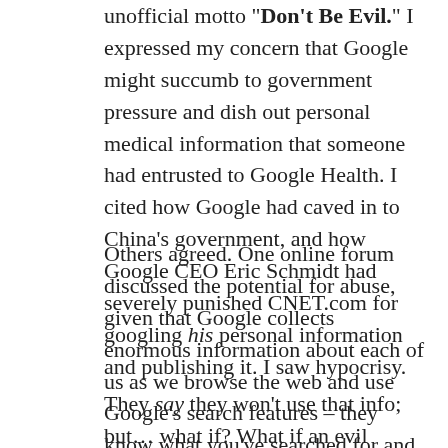unofficial motto "Don't Be Evil." I expressed my concern that Google might succumb to government pressure and dish out personal medical information that someone had entrusted to Google Health. I cited how Google had caved in to China's government, and how Google CEO Eric Schmidt had severely punished CNET.com for googling his personal information and publishing it. I saw hypocrisy.
Others agreed. One online forum discussed the potential for abuse, given that Google collects enormous information about each of us as we browse the web and use Google's search features – they know what you've searched for and (through ordinary marketing software that most web sites install) they know what sites you've visited.
They say they won't use that info; but… what if? What if an evil politician (take your pick: Dick Cheney, Hillary Clinton, Putin) puts the squeeze on Google to